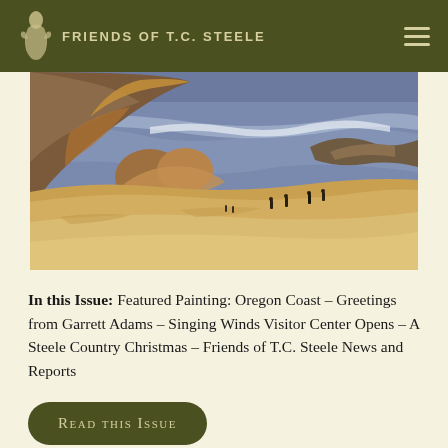FRIENDS OF T.C. STEELE
[Figure (photo): T.C. Steele painting of the Oregon Coast showing rocky cliffs, sandy beach, ocean waves, and small figures of people on the shore. Impressionist style with warm sandy tones in the foreground and purple-blue ocean in the background.]
In this Issue: Featured Painting: Oregon Coast – Greetings from Garrett Adams – Singing Winds Visitor Center Opens – A Steele Country Christmas – Friends of T.C. Steele News and Reports
Read this Issue